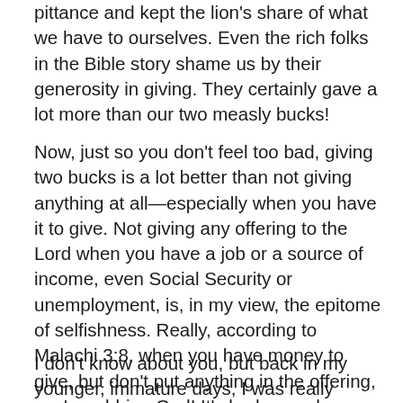pittance and kept the lion's share of what we have to ourselves. Even the rich folks in the Bible story shame us by their generosity in giving. They certainly gave a lot more than our two measly bucks!
Now, just so you don't feel too bad, giving two bucks is a lot better than not giving anything at all—especially when you have it to give. Not giving any offering to the Lord when you have a job or a source of income, even Social Security or unemployment, is, in my view, the epitome of selfishness. Really, according to Malachi 3:8, when you have money to give, but don't put anything in the offering, you're robbing God! It's bad enough stealing from people. But stealing from God? Wow! That's serious, folks!
I don't know about you, but back in my younger, immature days, I was really critical of this widow lady. I mean, yes,